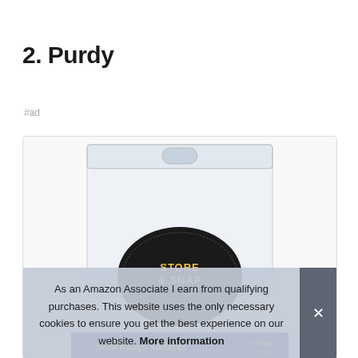2. Purdy
#ad
[Figure (photo): Product photo of Purdy paint roller in clear resealable plastic packaging with a black 'Store & Snap' disc label. Bottom of the package shows 'Semi Rough Surfaces' text in yellow on dark blue background.]
As an Amazon Associate I earn from qualifying purchases. This website uses the only necessary cookies to ensure you get the best experience on our website. More information